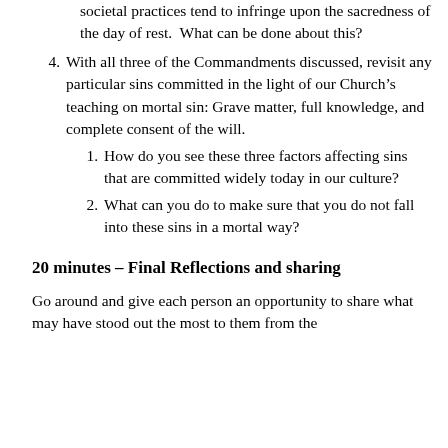societal practices tend to infringe upon the sacredness of the day of rest.  What can be done about this?
4. With all three of the Commandments discussed, revisit any particular sins committed in the light of our Church’s teaching on mortal sin: Grave matter, full knowledge, and complete consent of the will.
1. How do you see these three factors affecting sins that are committed widely today in our culture?
2. What can you do to make sure that you do not fall into these sins in a mortal way?
20 minutes – Final Reflections and sharing
Go around and give each person an opportunity to share what may have stood out the most to them from the